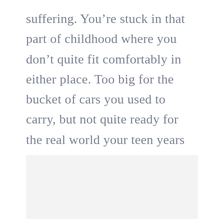suffering. You're stuck in that part of childhood where you don't quite fit comfortably in either place. Too big for the bucket of cars you used to carry, but not quite ready for the real world your teen years will reveal. You aren't a mistake, you're a miracle.
[Figure (other): A light gray rectangular image placeholder box at the bottom of the page.]